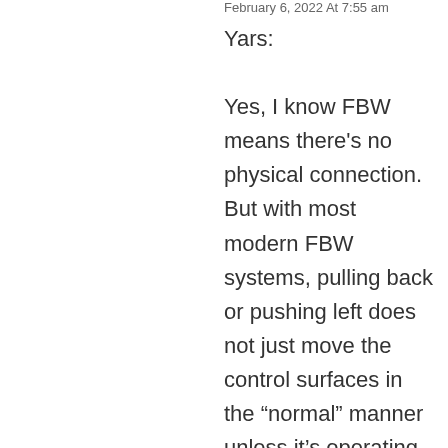February 6, 2022 At 7:55 am
Yars:

Yes, I know FBW means there's no physical connection. But with most modern FBW systems, pulling back or pushing left does not just move the control surfaces in the “normal” manner unless it’s operating in some direct mode. When you bank the plane, depending on the control laws and mode, it will also hold altitude for you. That’s